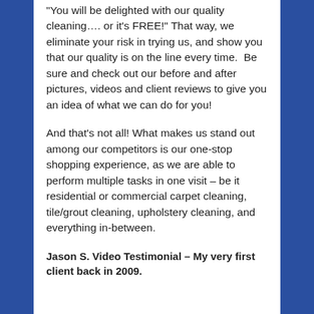"You will be delighted with our quality cleaning…. or it's FREE!" That way, we eliminate your risk in trying us, and show you that our quality is on the line every time.  Be sure and check out our before and after pictures, videos and client reviews to give you an idea of what we can do for you!
And that's not all! What makes us stand out among our competitors is our one-stop shopping experience, as we are able to perform multiple tasks in one visit – be it residential or commercial carpet cleaning, tile/grout cleaning, upholstery cleaning, and everything in-between.
Jason S. Video Testimonial – My very first client back in 2009.